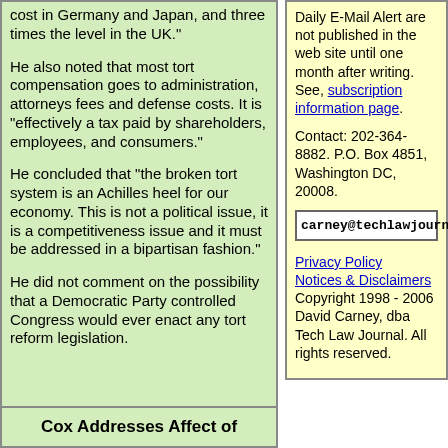cost in Germany and Japan, and three times the level in the UK."
He also noted that most tort compensation goes to administration, attorneys fees and defense costs. It is "effectively a tax paid by shareholders, employees, and consumers."
He concluded that "the broken tort system is an Achilles heel for our economy. This is not a political issue, it is a competitiveness issue and it must be addressed in a bipartisan fashion."
He did not comment on the possibility that a Democratic Party controlled Congress would ever enact any tort reform legislation.
Daily E-Mail Alert are not published in the web site until one month after writing. See, subscription information page.
Contact: 202-364-8882. P.O. Box 4851, Washington DC, 20008.
carney@techlawjournal.com
Privacy Policy
Notices & Disclaimers
Copyright 1998 - 2006 David Carney, dba Tech Law Journal. All rights reserved.
Cox Addresses Affect of